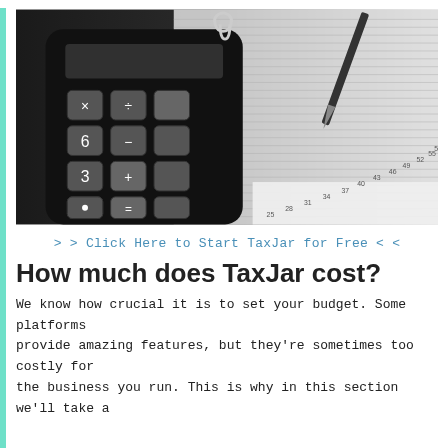[Figure (photo): Close-up photo of a black calculator with grey keys showing arithmetic symbols, placed on a spreadsheet/graph paper with a pen and paperclip visible in the background.]
> > Click Here to Start TaxJar for Free < <
How much does TaxJar cost?
We know how crucial it is to set your budget. Some platforms provide amazing features, but they're sometimes too costly for the business you run. This is why in this section we'll take a